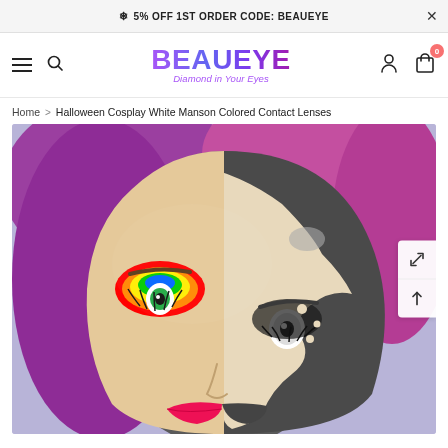❄ 5% OFF 1ST ORDER CODE: BEAUEYE
[Figure (logo): BEAUEYE logo with tagline 'Diamond in Your Eyes' in purple gradient text]
Home > Halloween Cosplay White Manson Colored Contact Lenses
[Figure (photo): Person with split-face Halloween makeup: left side colorful rainbow eyeshadow with green contact lens, right side grey/black theatrical makeup with white Manson contact lens, purple hair, lavender background]